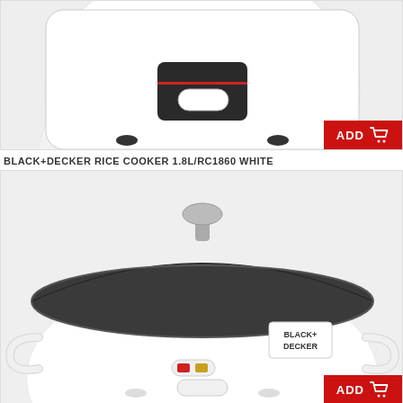[Figure (photo): White rice cooker (compact style) with black control panel, model RC1860, on light grey background. Red ADD button with cart icon in bottom-right corner.]
BLACK+DECKER RICE COOKER 1.8L/RC1860 WHITE
[Figure (photo): Black+Decker white rice cooker with dark lid and glass knob on top. Logo on body. Red and yellow indicator lights. Light grey background. Red ADD button with cart icon in bottom-right corner.]